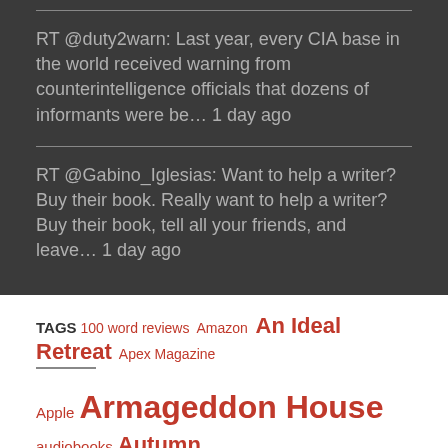RT @duty2warn: Last year, every CIA base in the world received warning from counterintelligence officials that dozens of informants were be… 1 day ago
RT @Gabino_Iglesias: Want to help a writer? Buy their book. Really want to help a writer? Buy their book, tell all your friends, and leave… 1 day ago
TAGS
100 word reviews Amazon An Ideal Retreat Apex Magazine Apple Armageddon House audiobooks Autumn Cthulhu Black Static blogging books Brian Evenson Children of Old Leech Cthulhucon Cthulhu Fhtagn! Dim Shores